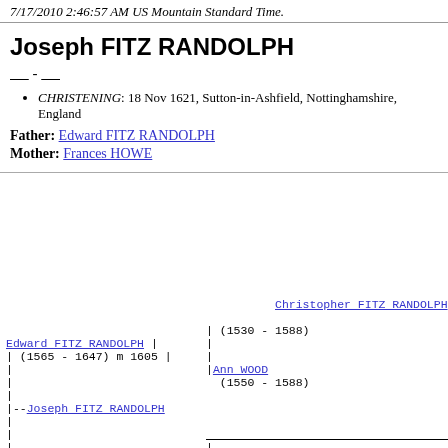7/17/2010 2:46:57 AM US Mountain Standard Time.
Joseph FITZ RANDOLPH
____ - ____
CHRISTENING: 18 Nov 1621, Sutton-in-Ashfield, Nottinghamshire, England
Father: Edward FITZ RANDOLPH
Mother: Frances HOWE
[Figure (other): Genealogical pedigree chart showing family tree: Christopher FITZ RANDOLPH (1530-1588) + and Ann WOOD (1550-1588) as grandparents; Edward FITZ RANDOLPH (1565-1647) m 1605 as father; Joseph FITZ RANDOLPH as subject; Frances HOWE (partial) as mother.]